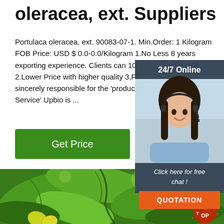oleracea, ext. Suppliers
Portulaca oleracea, ext. 90083-07-1. Min.Order: 1 Kilogram FOB Price: USD $ 0.0-0.0/Kilogram 1.No Less 8 years exporting experience. Clients can 100% received 2.Lower Price with higher quality 3,Free sample sincerely responsible for the 'product quality' and Service' Upbio is ...
Get Price
[Figure (screenshot): 24/7 Online chat widget with customer service representative photo, 'Click here for free chat!' text, and orange QUOTATION button]
[Figure (photo): Close-up photo of green plant leaves with yellow-green flowers, with a red 'TOP' logo in the bottom right corner]